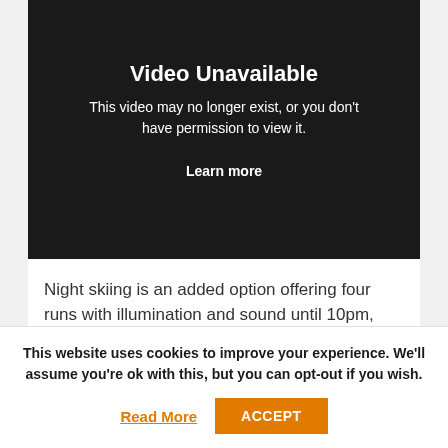[Figure (screenshot): Video Unavailable message on dark background. Title: 'Video Unavailable'. Subtitle: 'This video may no longer exist, or you don't have permission to view it.' Link: 'Learn more'.]
Night skiing is an added option offering four runs with illumination and sound until 10pm, and the music was fairly loud.
This website uses cookies to improve your experience. We'll assume you're ok with this, but you can opt-out if you wish.